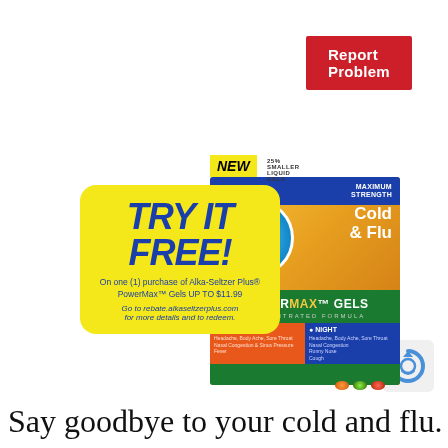[Figure (other): Red 'Report Problem' button in top right corner]
[Figure (illustration): Alka-Seltzer Plus PowerMax Gels Cold & Flu product box with yellow 'TRY IT FREE!' promotional badge and capsules. New product tag with '25% smaller liquid gels'. Day and Night sections visible on box.]
Say goodbye to your cold and flu.